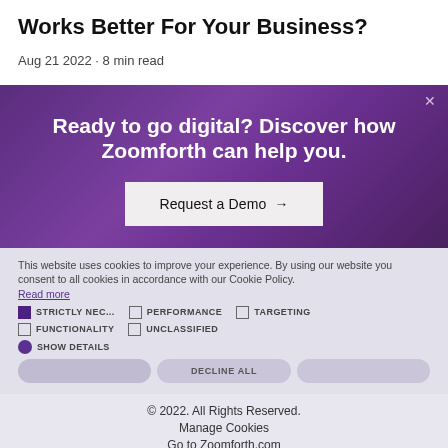Works Better For Your Business?
Aug 21 2022 · 8 min read
Ready to go digital? Discover how Zoomforth can help you.
Request a Demo →
This website uses cookies to improve your experience. By using our website you consent to all cookies in accordance with our Cookie Policy. Read more
STRICTLY NECESSARY   PERFORMANCE   TARGETING   FUNCTIONALITY   UNCLASSIFIED
SHOW DETAILS
© 2022. All Rights Reserved.
Manage Cookies
Go to Zoomforth.com
POWERED BY COOKIE-SCRIPT